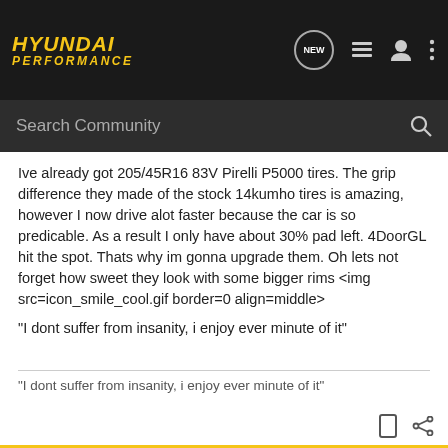Hyundai Performance — Search Community
Ive already got 205/45R16 83V Pirelli P5000 tires. The grip difference they made of the stock 14kumho tires is amazing, however I now drive alot faster because the car is so predicable. As a result I only have about 30% pad left. 4DoorGL hit the spot. Thats why im gonna upgrade them. Oh lets not forget how sweet they look with some bigger rims <img src=icon_smile_cool.gif border=0 align=middle>
"I dont suffer from insanity, i enjoy ever minute of it"
"I dont suffer from insanity, i enjoy ever minute of it"